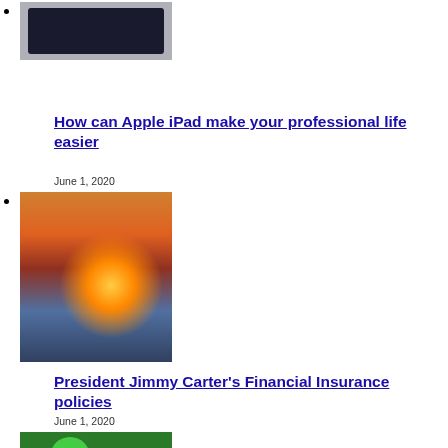[image: iPad/tablet photo]
How can Apple iPad make your professional life easier
June 1, 2020
[image: sunset/marina photo]
President Jimmy Carter’s Financial Insurance policies
June 1, 2020
[Figure (photo): Partial green image at bottom, partially cropped]